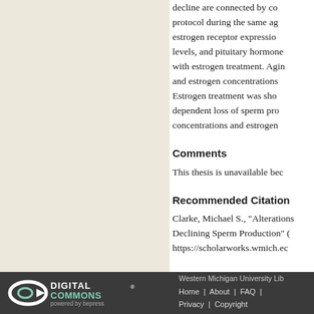decline are connected by common protocol during the same ag... estrogen receptor expression levels, and pituitary hormone levels, and pituitary hormone with estrogen treatment. Aging and estrogen concentrations. Estrogen treatment was shown dependent loss of sperm production concentrations and estrogen
Comments
This thesis is unavailable bec...
Recommended Citation
Clarke, Michael S., "Alterations... Declining Sperm Production" (... https://scholarworks.wmich.ec...
[Figure (logo): Digital Commons powered by bepress logo — white on dark background]
Western Michigan University Lib... Home | About | FAQ | Privacy | Copyright